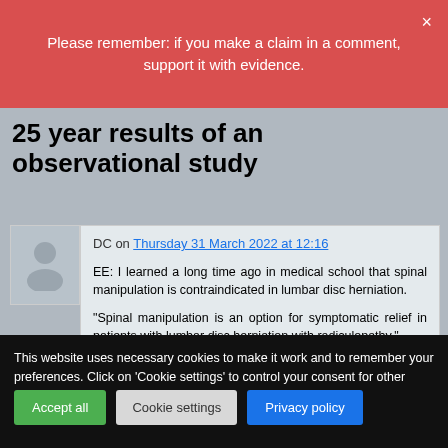Please remember: if you make a claim in a comment, support it with evidence.
25 year results of an observational study
DC on Thursday 31 March 2022 at 12:16
EE: I learned a long time ago in medical school that spinal manipulation is contraindicated in lumbar disc herniation.
“Spinal manipulation is an option for symptomatic relief in patients with lumbar disc herniation with radiculopathy.”
This website uses necessary cookies to make it work and to remember your preferences. Click on 'Cookie settings' to control your consent for other cookies or click on 'Accept all' to consent to the use of all cookies. By continuing to browse this website you are agreeing to our Privacy policy.
Accept all | Cookie settings | Privacy policy